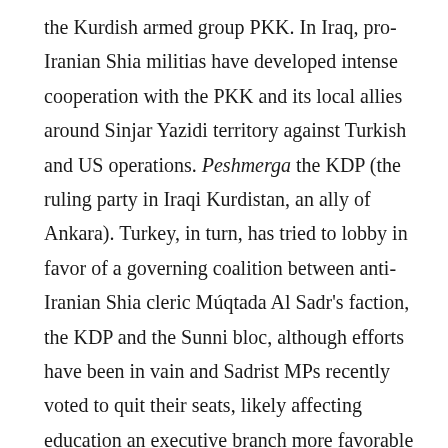the Kurdish armed group PKK. In Iraq, pro-Iranian Shia militias have developed intense cooperation with the PKK and its local allies around Sinjar Yazidi territory against Turkish and US operations. Peshmerga the KDP (the ruling party in Iraqi Kurdistan, an ally of Ankara). Turkey, in turn, has tried to lobby in favor of a governing coalition between anti-Iranian Shia cleric Múqtada Al Sadr's faction, the KDP and the Sunni bloc, although efforts have been in vain and Sadrist MPs recently voted to quit their seats, likely affecting education an executive branch more favorable to Tehran.